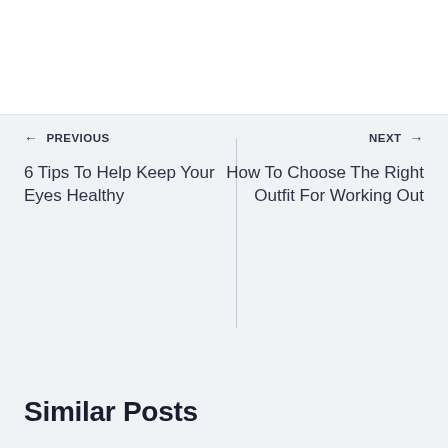← PREVIOUS
6 Tips To Help Keep Your Eyes Healthy
NEXT →
How To Choose The Right Outfit For Working Out
Similar Posts